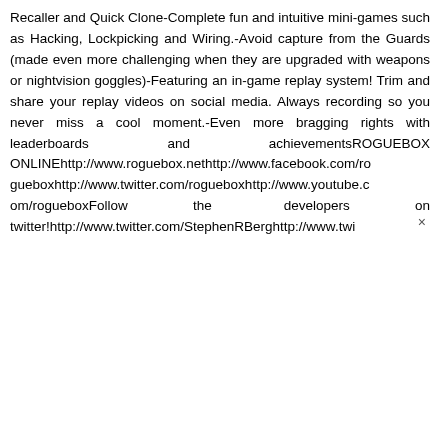Recaller and Quick Clone-Complete fun and intuitive mini-games such as Hacking, Lockpicking and Wiring.-Avoid capture from the Guards (made even more challenging when they are upgraded with weapons or nightvision goggles)-Featuring an in-game replay system! Trim and share your replay videos on social media. Always recording so you never miss a cool moment.-Even more bragging rights with leaderboards and achievementsROGUEBOX ONLINEhttp://www.roguebox.nethttp://www.facebook.com/rogueboxhttp://www.twitter.com/rogueboxhttp://www.youtube.com/rogueboxFollow the developers on twitter!http://www.twitter.com/StephenRBerghttp://www.twi ×